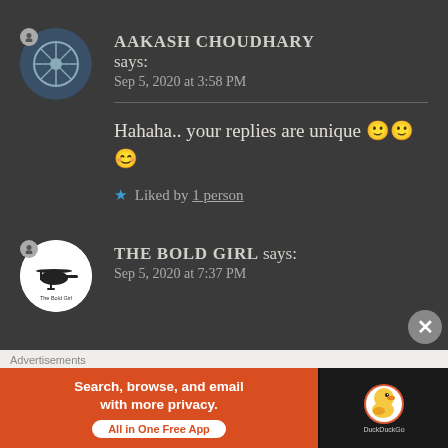AAKASH CHOUDHARY says: Sep 5, 2020 at 3:58 PM
Hahaha.. your replies are unique 🙂🙂😊
★ Liked by 1 person
THE BOLD GIRL says: Sep 5, 2020 at 7:37 PM
Advertisements
[Figure (screenshot): DuckDuckGo advertisement banner: 'Search, browse, and email with more privacy. All in One Free App' with DuckDuckGo logo on dark right panel]